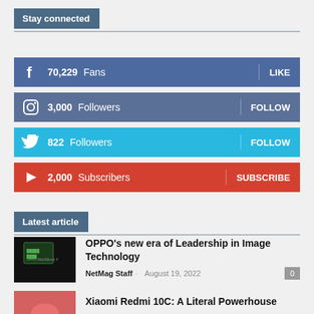Stay connected
70,229  Fans  LIKE
3,000  Followers  FOLLOW
822  Followers  FOLLOW
2,000  Subscribers  SUBSCRIBE
Latest article
OPPO's new era of Leadership in Image Technology
NetMag Staff  ·  August 19, 2022  0
Xiaomi Redmi 10C: A Literal Powerhouse